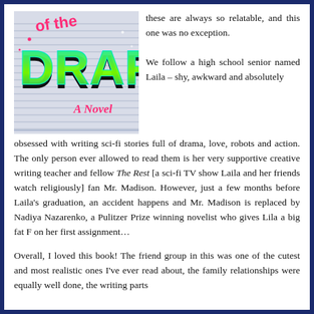[Figure (illustration): Book cover for a novel titled 'DRAFT: A Novel' with retro 80s neon styling on a lined paper background. The title 'DRAFT' is in large green/teal 3D letters with 'A Novel' in pink script below.]
these are always so relatable, and this one was no exception.

We follow a high school senior named Laila – shy, awkward and absolutely obsessed with writing sci-fi stories full of drama, love, robots and action. The only person ever allowed to read them is her very supportive creative writing teacher and fellow The Rest [a sci-fi TV show Laila and her friends watch religiously] fan Mr. Madison. However, just a few months before Laila's graduation, an accident happens and Mr. Madison is replaced by Nadiya Nazarenko, a Pulitzer Prize winning novelist who gives Lila a big fat F on her first assignment…
Overall, I loved this book! The friend group in this was one of the cutest and most realistic ones I've ever read about, the family relationships were equally well done, the writing parts